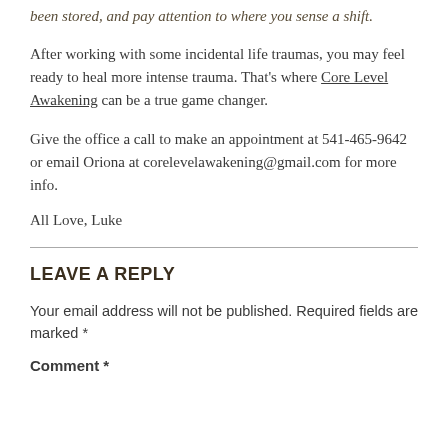been stored, and pay attention to where you sense a shift.
After working with some incidental life traumas, you may feel ready to heal more intense trauma. That's where Core Level Awakening can be a true game changer.
Give the office a call to make an appointment at 541-465-9642 or email Oriona at corelevelawakening@gmail.com for more info.
All Love, Luke
LEAVE A REPLY
Your email address will not be published. Required fields are marked *
Comment *